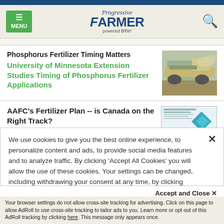Progressive FARMER powered by DTN — navigation header with menu and search
Phosphorus Fertilizer Timing Matters
University of Minnesota Extension Studies Timing of Phosphorus Fertilizer Applications
[Figure (photo): Farm equipment applying fertilizer in a field, dust visible]
AAFC's Fertilizer Plan -- is Canada on the Right Track?
[Figure (other): Document thumbnail with teal diamond graphic]
We use cookies to give you the best online experience, to personalize content and ads, to provide social media features and to analyze traffic. By clicking 'Accept All Cookies' you will allow the use of these cookies. Your settings can be changed, including withdrawing your consent at any time, by clicking 'Cookie Settings'. Find out more on how we and third parties use cookies in our  Cookie Policy
Accept and Close ✕
Your browser settings do not allow cross-site tracking for advertising. Click on this page to allow AdRoll to use cross-site tracking to tailor ads to you. Learn more or opt out of this AdRoll tracking by clicking here. This message only appears once.